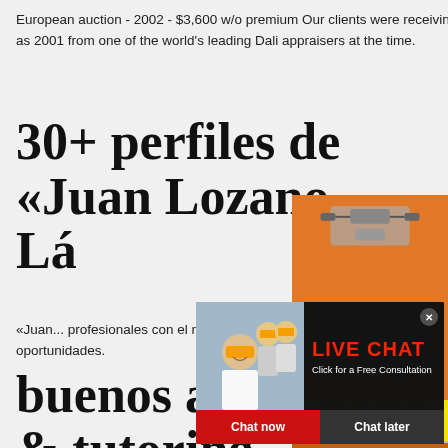European auction - 2002 - $3,600 w/o premium Our clients were receiving appraisals of $60,000 per set as far back as 2001 from one of the world's leading Dali appraisers at the time.
30+ perfiles de «Juan Lozano Lá
«Juan... profesionales con el nombre de «Juan Lozano... que usan LinkedIn para intercambiar informació... y oportunidades.
buenos aires lesso & tutoring -
[Figure (infographic): Live chat popup overlay with workers in hard hats photo, red LIVE CHAT heading, 'Click for a Free Consultation' text, red 'Chat now' button and dark 'Chat later' button]
[Figure (advertisement): Orange sidebar ad with mining/construction machinery images, yellow 'Enjoy 3% discount' bar, yellow 'Click to Chat' bar, 'Enquiry' section, and email limingjlmofen@sina.com]